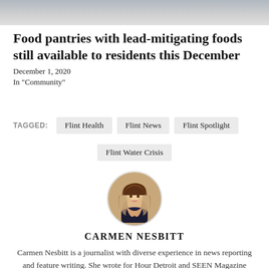[Figure (photo): Partial photo strip at top of page, showing people or items, cropped]
Food pantries with lead-mitigating foods still available to residents this December
December 1, 2020
In "Community"
TAGGED: Flint Health  Flint News  Flint Spotlight  Flint Water Crisis
[Figure (photo): Circular portrait photo of Carmen Nesbitt, a woman with long hair, smiling]
CARMEN NESBITT
Carmen Nesbitt is a journalist with diverse experience in news reporting and feature writing. She wrote for Hour Detroit and SEEN Magazine before joining the Flint Beat news team as an education and public... More by Carmen